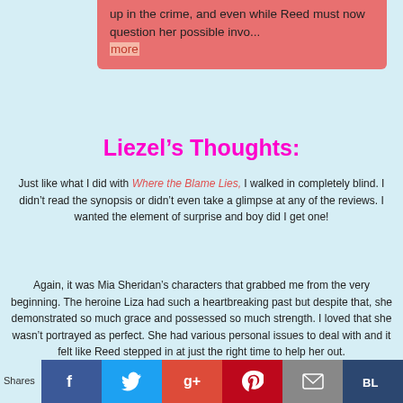up in the crime, and even while Reed must now question her possible invo... more
Liezel's Thoughts:
Just like what I did with Where the Blame Lies, I walked in completely blind. I didn't read the synopsis or didn't even take a glimpse at any of the reviews. I wanted the element of surprise and boy did I get one!
Again, it was Mia Sheridan's characters that grabbed me from the very beginning. The heroine Liza had such a heartbreaking past but despite that, she demonstrated so much grace and possessed so much strength. I loved that she wasn't portrayed as perfect. She had various personal issues to deal with and it felt like Reed stepped in at just the right time to help her out.
Shares [facebook] [twitter] [google+] [pinterest] [email] [bloglovin]